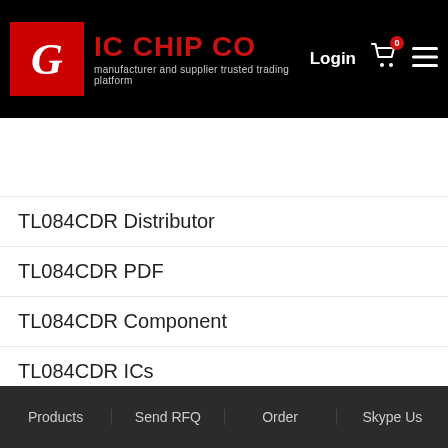[Figure (logo): IC Chip Co logo — red square with white G letter, red bold brand name, tagline 'manufacturer and supplier trusted trading platform', login link, cart icon with badge 0, hamburger menu]
Search...
TL084CDR Distributor
TL084CDR PDF
TL084CDR Component
TL084CDR ICs
TL084CDR Download PDF
TL084CDR Download datasheet
TL084CDR Supply
Products | Send RFQ | Order | Skype Us